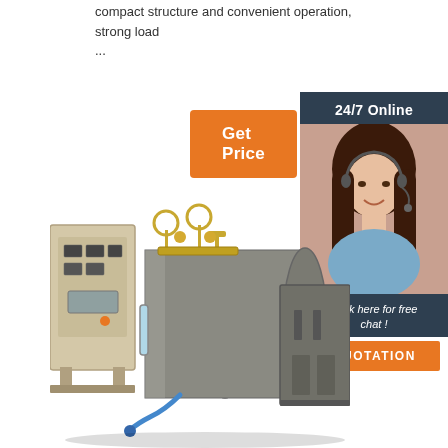compact structure and convenient operation, strong load ...
Get Price
[Figure (infographic): 24/7 Online customer support panel with a smiling woman wearing a headset, Click here for free chat text, and QUOTATION orange button]
[Figure (photo): Industrial electric steam boiler unit with control panel cabinet on left, cylindrical boiler vessel in center with gauges and valves on top, and cabinet on right, all rendered in 3D]